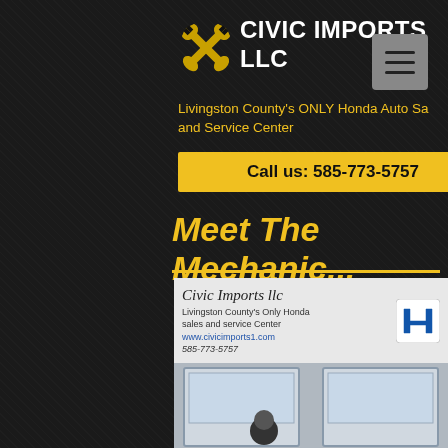CIVIC IMPORTS LLC
Livingston County's ONLY Honda Auto Sales and Service Center
Call us: 585-773-5757
Meet The Mechanic...
[Figure (photo): Photo of Civic Imports LLC business sign reading 'Civic Imports llc, Livingston County's Only Honda sales and service Center, www.civicimports1.com, 585-773-5757' with Honda logo, and below it a person standing in front of a door.]